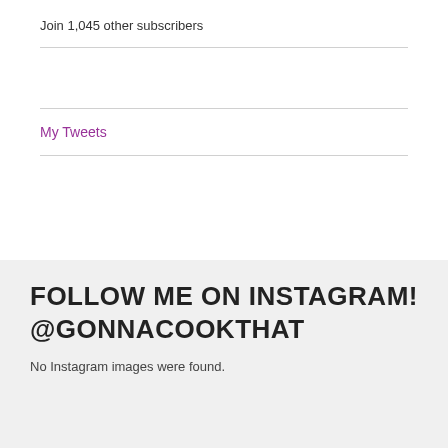Join 1,045 other subscribers
My Tweets
FOLLOW ME ON INSTAGRAM! @GONNACOOKTHAT
No Instagram images were found.